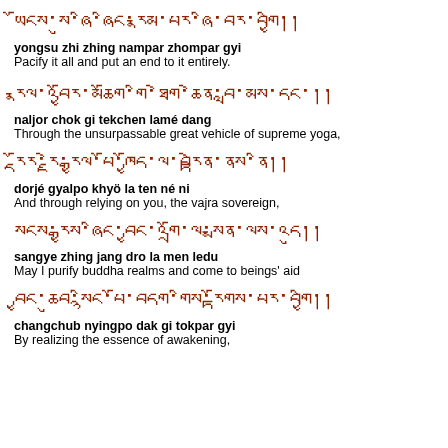Tibetan script: yongsu zhi zhing nampar zhompar gyi
yongsu zhi zhing nampar zhompar gyi
Pacify it all and put an end to it entirely.
Tibetan script: naljor chok gi tekchen lamé dang
naljor chok gi tekchen lamé dang
Through the unsurpassable great vehicle of supreme yoga,
Tibetan script: dorjé gyalpo khyö la ten né ni
dorjé gyalpo khyö la ten né ni
And through relying on you, the vajra sovereign,
Tibetan script: sangye zhing jang dro la men ledu
sangye zhing jang dro la men ledu
May I purify buddha realms and come to beings' aid
Tibetan script: changchub nyingpo dak gi tokpar gyi
changchub nyingpo dak gi tokpar gyi
By realizing the essence of awakening,